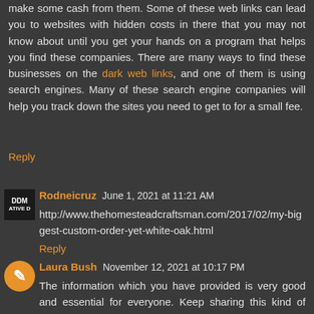make some cash from them. Some of these web links can lead you to websites with hidden costs in there that you may not know about until you get your hands on a program that helps you find these companies. There are many ways to find these businesses on the dark web links, and one of them is using search engines. Many of these search engine companies will help you track down the sites you need to get to for a small fee.
Reply
Rodneicruz June 1, 2021 at 11:21 AM
http://www.thehomesteadcraftsman.com/2017/02/my-biggest-custom-order-yet-white-oak.html
Reply
Laura Bush November 12, 2021 at 10:17 PM
The information which you have provided is very good and essential for everyone. Keep sharing this kind of information. Thank you. Patio furniture Canada